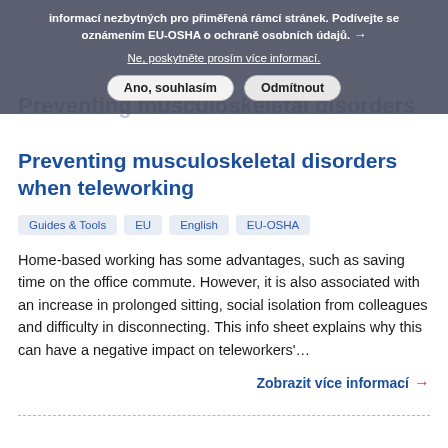informací nezbytných pro přiměřená rámcí stránek. Podívejte se oznámením EU-OSHA o ochraně osobních údajů.
Ne, poskytněte prosím více informací.
Ano, souhlasím | Odmítnout
Preventing musculoskeletal disorders when teleworking
Guides & Tools | EU | English | EU-OSHA
Home-based working has some advantages, such as saving time on the office commute. However, it is also associated with an increase in prolonged sitting, social isolation from colleagues and difficulty in disconnecting. This info sheet explains why this can have a negative impact on teleworkers'…
Zobrazit více informací →